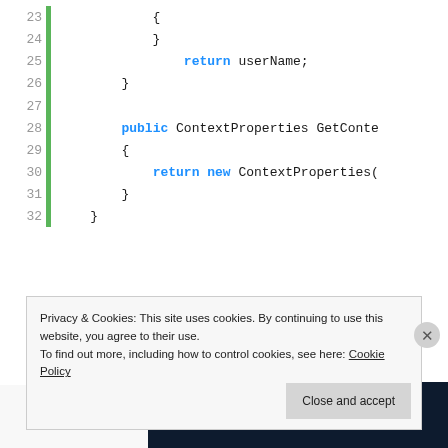[Figure (screenshot): Code editor screenshot showing lines 23-32 of C# code with syntax highlighting. Green vertical bar on left. Line numbers in gray. Keywords 'return', 'public', 'new' in blue. Code includes ContextProperties GetConte... and return new ContextProperties(]
[Figure (screenshot): Dark navy banner image with white bold text 'We all have them!' and a pink/magenta button bar at bottom left and white circle at bottom right]
Privacy & Cookies: This site uses cookies. By continuing to use this website, you agree to their use.
To find out more, including how to control cookies, see here: Cookie Policy